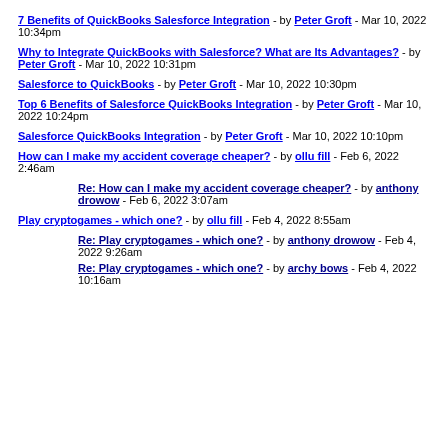7 Benefits of QuickBooks Salesforce Integration - by Peter Groft - Mar 10, 2022 10:34pm
Why to Integrate QuickBooks with Salesforce? What are Its Advantages? - by Peter Groft - Mar 10, 2022 10:31pm
Salesforce to QuickBooks - by Peter Groft - Mar 10, 2022 10:30pm
Top 6 Benefits of Salesforce QuickBooks Integration - by Peter Groft - Mar 10, 2022 10:24pm
Salesforce QuickBooks Integration - by Peter Groft - Mar 10, 2022 10:10pm
How can I make my accident coverage cheaper? - by ollu fill - Feb 6, 2022 2:46am
Re: How can I make my accident coverage cheaper? - by anthony drowow - Feb 6, 2022 3:07am
Play cryptogames - which one? - by ollu fill - Feb 4, 2022 8:55am
Re: Play cryptogames - which one? - by anthony drowow - Feb 4, 2022 9:26am
Re: Play cryptogames - which one? - by archy bows - Feb 4, 2022 10:16am